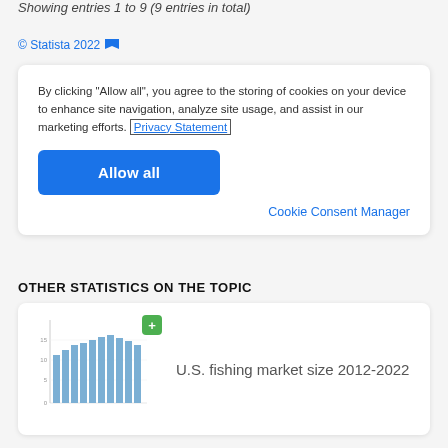Showing entries 1 to 9 (9 entries in total)
© Statista 2022
By clicking "Allow all", you agree to the storing of cookies on your device to enhance site navigation, analyze site usage, and assist in our marketing efforts. Privacy Statement
Allow all
Cookie Consent Manager
OTHER STATISTICS ON THE TOPIC
[Figure (bar-chart): Thumbnail bar chart showing U.S. fishing market size data with multiple blue bars]
U.S. fishing market size 2012-2022